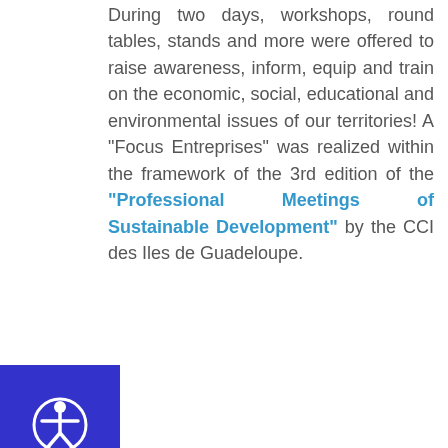During two days, workshops, round tables, stands and more were offered to raise awareness, inform, equip and train on the economic, social, educational and environmental issues of our territories! A "Focus Entreprises" was realized within the framework of the 3rd edition of the "Professional Meetings of Sustainable Development" by the CCI des Iles de Guadeloupe.
[Figure (other): Accessibility button icon showing a person with arms extended in a circle, on a dark blue square background]